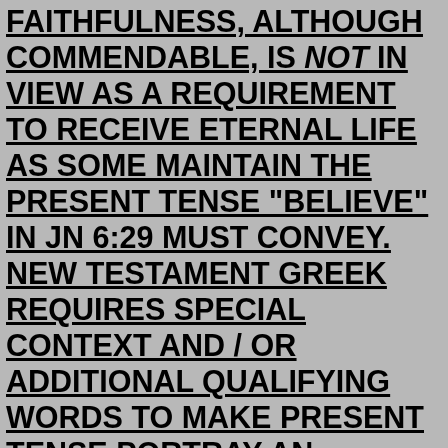FAITHFULNESS, ALTHOUGH COMMENDABLE, IS NOT IN VIEW AS A REQUIREMENT TO RECEIVE ETERNAL LIFE AS SOME MAINTAIN THE PRESENT TENSE "BELIEVE" IN JN 6:29 MUST CONVEY. NEW TESTAMENT GREEK REQUIRES SPECIAL CONTEXT AND / OR ADDITIONAL QUALIFYING WORDS TO MAKE PRESENT TENSE PORTRAY AN ENDURING OR CONTINUOUS ACTION. NONE ARE PRESENT HERE. FURTHERMORE A CONTINUOUS STATE OF BELIEVING / FAITHFULNESS IS NOT POSSIBLE WITH FLAWED MAN AND JN 6:27 RULES IT OUT. FINALLY, ETERNAL